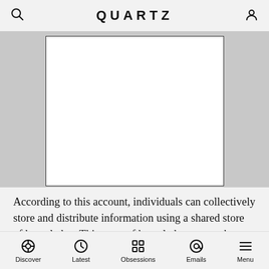QUARTZ
[Figure (other): White rectangle with black border on gray background — image placeholder]
According to this account, individuals can collectively store and distribute information using a shared store of knowledge. This store of knowledge means that individuals can access details that they may not know themselves by knowing that another individual remembers it, thus enhancing what information is available to them by communicating with other people.
Discover  Latest  Obsessions  Emails  Menu